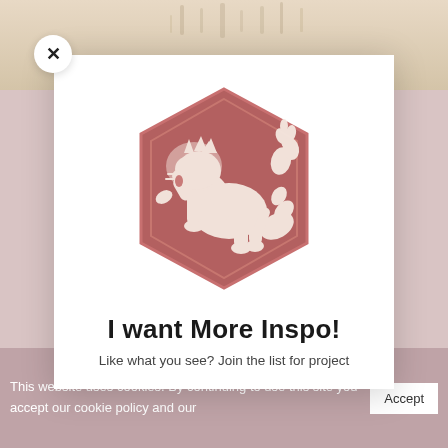[Figure (photo): Beige/cream textured wall or ceiling photo visible at the top of the page behind the modal]
[Figure (logo): Hexagonal badge logo with a rampant lion and floral motif in white on a dusty rose/terracotta background]
I want More Inspo!
Like what you see?  Join the list for project
This website uses cookies. By continuing to use this site you accept our cookie policy and our
Accept